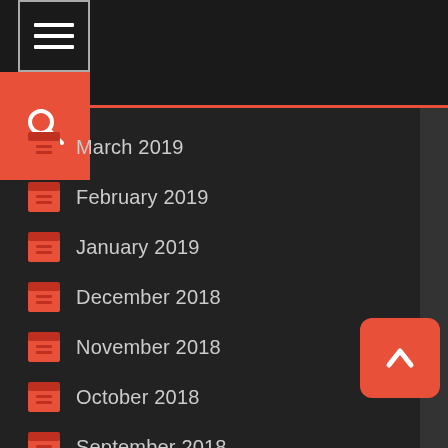Navigation header with hamburger menu and search button
March 2019
February 2019
January 2019
December 2018
November 2018
October 2018
September 2018
July 2018
June 2018